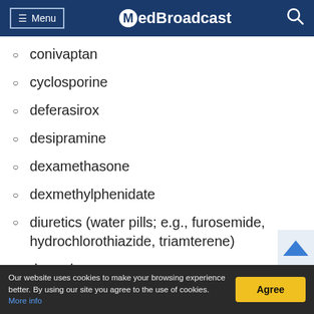Menu | MedBroadcast
conivaptan
cyclosporine
deferasirox
desipramine
dexamethasone
dexmethylphenidate
diuretics (water pills; e.g., furosemide, hydrochlorothiazide, triamterene)
dronedarone
Our website uses cookies to make your browsing experience better. By using our site you agree to the use of cookies. More info